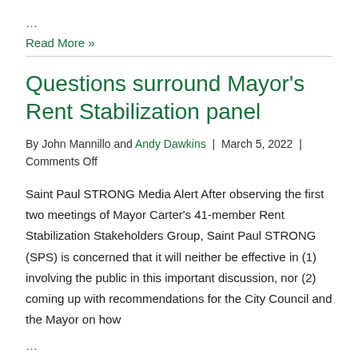…
Read More »
Questions surround Mayor's Rent Stabilization panel
By John Mannillo and Andy Dawkins  |  March 5, 2022  |  Comments Off
Saint Paul STRONG Media Alert After observing the first two meetings of Mayor Carter's 41-member Rent Stabilization Stakeholders Group, Saint Paul STRONG (SPS) is concerned that it will neither be effective in (1) involving the public in this important discussion, nor (2) coming up with recommendations for the City Council and the Mayor on how
…